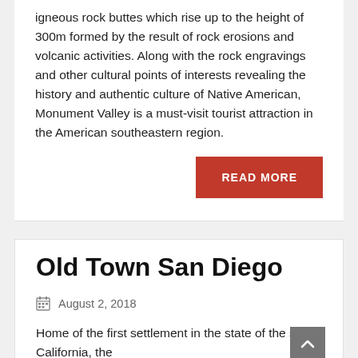igneous rock buttes which rise up to the height of 300m formed by the result of rock erosions and volcanic activities. Along with the rock engravings and other cultural points of interests revealing the history and authentic culture of Native American, Monument Valley is a must-visit tourist attraction in the American southeastern region.
READ MORE
Old Town San Diego
August 2, 2018
Home of the first settlement in the state of the state, California, the...